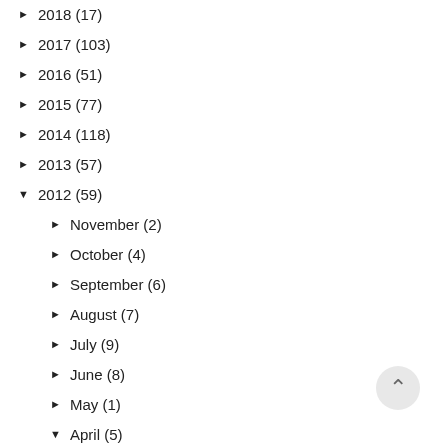► 2018 (17)
► 2017 (103)
► 2016 (51)
► 2015 (77)
► 2014 (118)
► 2013 (57)
▼ 2012 (59)
► November (2)
► October (4)
► September (6)
► August (7)
► July (9)
► June (8)
► May (1)
▼ April (5)
Sonlight Moments: Songs and Fingerplays &